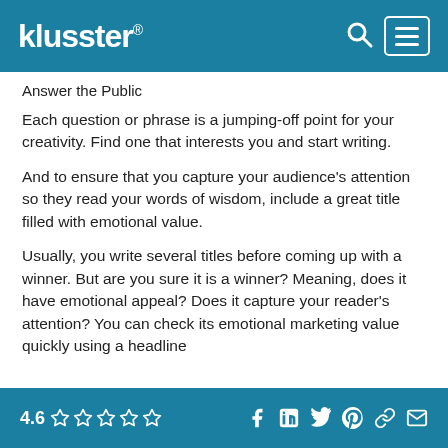klusster®
Answer the Public
Each question or phrase is a jumping-off point for your creativity. Find one that interests you and start writing.
And to ensure that you capture your audience's attention so they read your words of wisdom, include a great title filled with emotional value.
Usually, you write several titles before coming up with a winner. But are you sure it is a winner? Meaning, does it have emotional appeal? Does it capture your reader's attention? You can check its emotional marketing value quickly using a headline
4.6 ☆☆☆☆☆